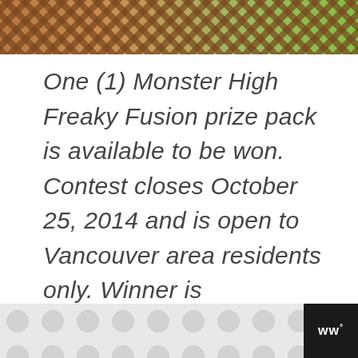[Figure (photo): Top portion of an outdoor photo showing a wooden lattice/trellis fence structure with greenery and blue sky in background]
One (1) Monster High Freaky Fusion prize pack is available to be won. Contest closes October 25, 2014 and is open to Vancouver area residents only. Winner is responsible for getting themselves to the show. Please see full contest rules
[Figure (other): Bottom bar with grey polka dot pattern on left and dark background with 'w°' logo on right]